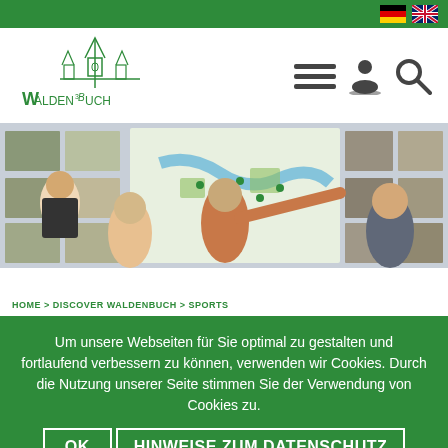Waldenbach website header with German and UK flag icons and navigation
[Figure (logo): Waldenbuch city logo with church tower sketch and text WALDENBUCH]
[Figure (photo): Three people looking at a large map/information board with photos of local sights]
HOME > DISCOVER WALDENBUCH > SPORTS
Um unsere Webseiten für Sie optimal zu gestalten und fortlaufend verbessern zu können, verwenden wir Cookies. Durch die Nutzung unserer Seite stimmen Sie der Verwendung von Cookies zu.
OK
HINWEISE ZUM DATENSCHUTZ